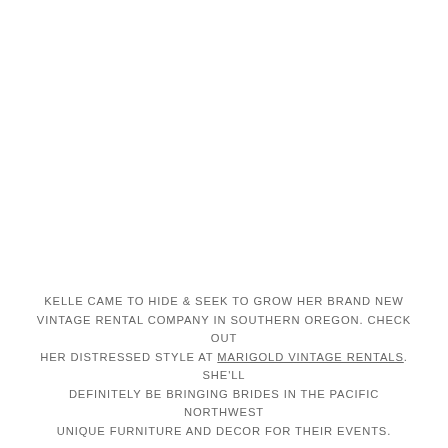KELLE CAME TO HIDE & SEEK TO GROW HER BRAND NEW VINTAGE RENTAL COMPANY IN SOUTHERN OREGON. CHECK OUT HER DISTRESSED STYLE AT MARIGOLD VINTAGE RENTALS. SHE'LL DEFINITELY BE BRINGING BRIDES IN THE PACIFIC NORTHWEST UNIQUE FURNITURE AND DECOR FOR THEIR EVENTS.